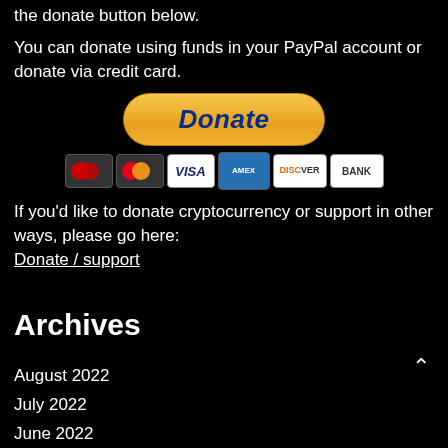the donate button below.
You can donate using funds in your PayPal account or donate via credit card.
[Figure (other): PayPal Donate button (orange pill-shaped button with 'Donate' text in blue italic bold)]
[Figure (other): Payment card logos: Maestro, Mastercard, VISA, American Express, Discover, BANK]
If you'd like to donate cryptocurrency or support in other ways, please go here: Donate / support
Archives
August 2022
July 2022
June 2022
May 2022